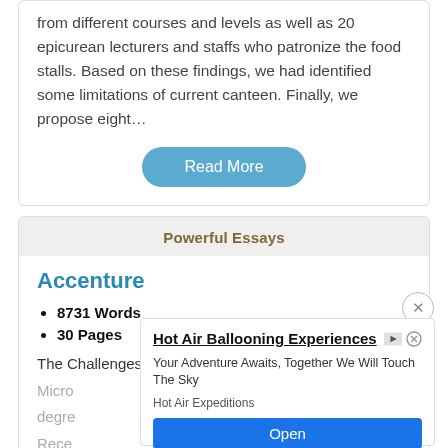from different courses and levels as well as 20 epicurean lecturers and staffs who patronize the food stalls. Based on these findings, we had identified some limitations of current canteen. Finally, we propose eight…
Read More
Powerful Essays
Accenture
8731 Words
30 Pages
The Challenges to Growth Faced by Small, Medium and Micro … Africa … or the degre… Rece…
[Figure (other): Advertisement overlay for Hot Air Ballooning Experiences by Hot Air Expeditions with Open button]